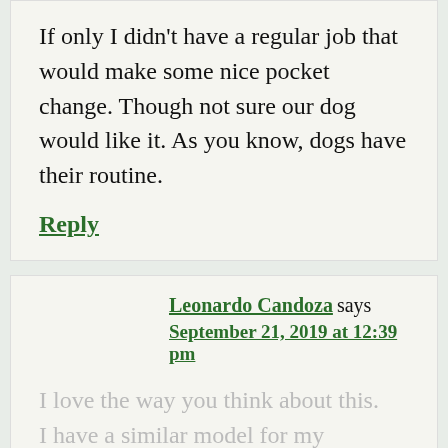If only I didn't have a regular job that would make some nice pocket change. Though not sure our dog would like it. As you know, dogs have their routine.
Reply
Leonardo Candoza says
September 21, 2019 at 12:39 pm
I love the way you think about this. I have a similar model for my